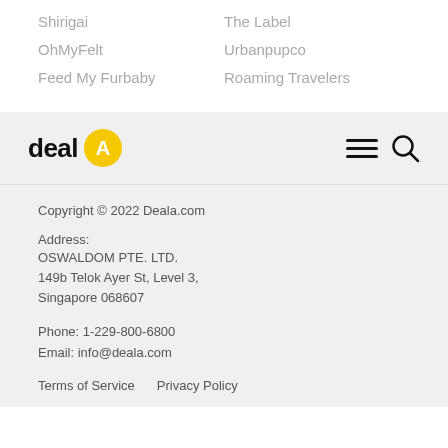Shirigai
OhMyFelt
Feed My Furbaby
The Label
Urbanpupco
Roaming Travelers
[Figure (logo): Deala.com logo: word 'deal' in bold black with yellow circle containing white letter A]
Copyright © 2022 Deala.com

Address:
OSWALDOM PTE. LTD.
149b Telok Ayer St, Level 3,
Singapore 068607

Phone: 1-229-800-6800
Email: info@deala.com

Terms of Service   Privacy Policy